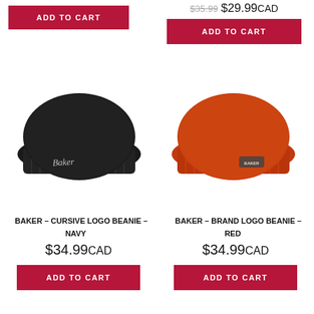[Figure (photo): ADD TO CART button (crimson) at top left of page, partial previous product]
[Figure (photo): Strikethrough price $35.99 and sale price $29.99CAD with ADD TO CART button at top right]
[Figure (photo): Black knit beanie with cursive Baker logo embroidery on the cuff]
[Figure (photo): Red/orange knit beanie with Baker brand logo patch on the cuff]
BAKER – CURSIVE LOGO BEANIE – NAVY
$34.99CAD
ADD TO CART
BAKER – BRAND LOGO BEANIE – RED
$34.99CAD
ADD TO CART